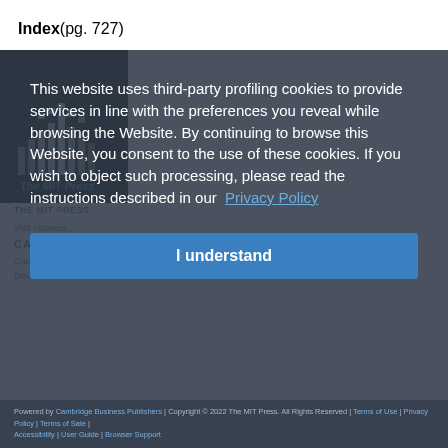Index (pg. 727)
[Figure (screenshot): Background website content showing MIT Press navigation with logo, nav links (THE MIT PRESS, Visit mitpress..., CATALOG, Courses, Device Compatibility), partially obscured by cookie consent modal overlay]
This website uses third-party profiling cookies to provide services in line with the preferences you reveal while browsing the Website. By continuing to browse this Website, you consent to the use of these cookies. If you wish to object such processing, please read the instructions described in our Privacy Policy
I understand
Powered by Cambridge Business Publishers | Copyright © 2022 The MIT Press. All Rights Reserved | Terms of Use | Privacy Policy | Terms of Sale | Accessibility | User Guide | Browser Support